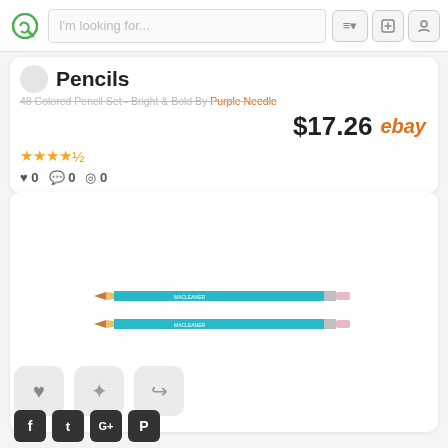I'm looking for...
Pencils
48 Colored Pencil Set - Bright & Bold By Purple Needle
$17.26 ebay
★★★★½  ♥ 0  💬 0  👁 0
[Figure (photo): Two teal/cyan colored pencils with white text and pink erasers, side by side on white background]
♥  ✦  ↪
f  t  G+  P (Facebook, Twitter, Google+, Pinterest social icons)